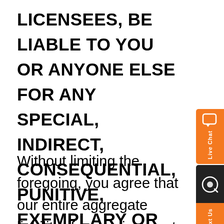LICENSEES, BE LIABLE TO YOU OR ANYONE ELSE FOR ANY SPECIAL, INDIRECT, CONSEQUENTIAL, PUNITIVE, EXEMPLARY OR SIMILAR DAMAGES WHATSOEVER (INCLUDING, WITHOUT LIMITATION, DAMAGES FOR LOST REVENUES OR PROFITS, OR LOSS OF BUSINESS OR DATA), EVEN IF WE OR ANY SUCH OTHER PERSON HAS BEEN ADVISED OF THE POSSIBILITY OF SUCH DAMAGES.
Without limiting the foregoing, you agree that our entire aggregate liability, if any, arising out of any kind of legal claim (whether in contract, tort or under any other legal theory) arising out of your access to or use of, or inability to use, our Website or any content,